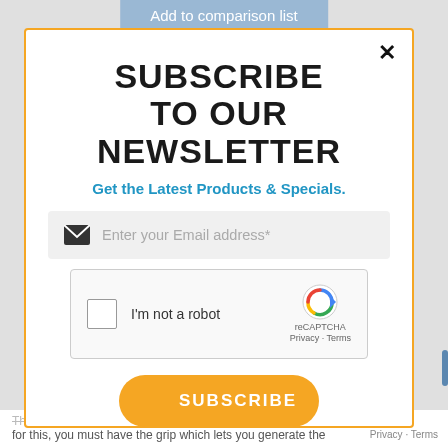Add to comparison list
SUBSCRIBE
TO OUR NEWSLETTER
Get the Latest Products & Specials.
Enter your Email address*
[Figure (screenshot): reCAPTCHA widget with checkbox and 'I'm not a robot' label, reCAPTCHA logo, Privacy and Terms links]
SUBSCRIBE
The side needs to feel comfortable while in your hand for this, you must have the grip which lets you generate the